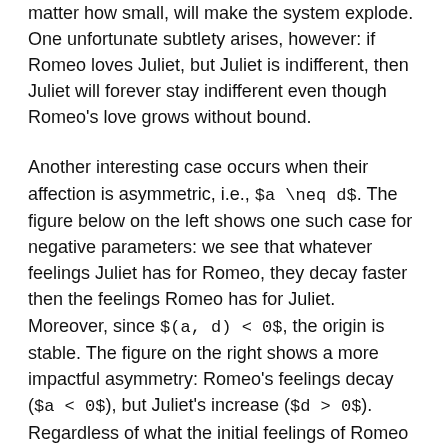matter how small, will make the system explode. One unfortunate subtlety arises, however: if Romeo loves Juliet, but Juliet is indifferent, then Juliet will forever stay indifferent even though Romeo's love grows without bound.
Another interesting case occurs when their affection is asymmetric, i.e., $a \neq d$. The figure below on the left shows one such case for negative parameters: we see that whatever feelings Juliet has for Romeo, they decay faster then the feelings Romeo has for Juliet. Moreover, since $(a, d) < 0$, the origin is stable. The figure on the right shows a more impactful asymmetry: Romeo's feelings decay ($a < 0$), but Juliet's increase ($d > 0$). Regardless of what the initial feelings of Romeo are, he will always end up in a state of indifference with respect to Juliet (all arrows point to the y-axis). Juliet, on the other hand, will go increasingly mad with love or